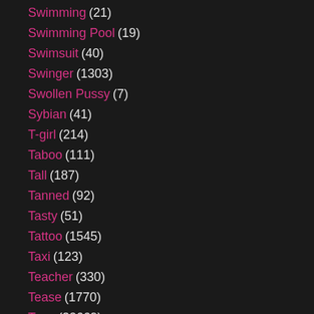Swimming (21)
Swimming Pool (19)
Swimsuit (40)
Swinger (1303)
Swollen Pussy (7)
Sybian (41)
T-girl (214)
Taboo (111)
Tall (187)
Tanned (92)
Tasty (51)
Tattoo (1545)
Taxi (123)
Teacher (330)
Tease (1770)
Teen (20669)